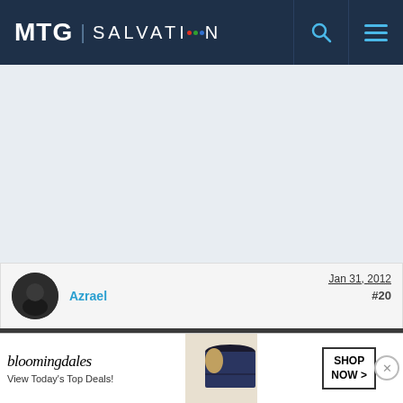MTG | SALVATION
[Figure (screenshot): MTG Salvation forum website screenshot showing a user post by Azrael dated Jan 31, 2012, post #20, with Member Details collapsible bar and partial post body text, plus a Bloomingdale's advertisement banner at the bottom.]